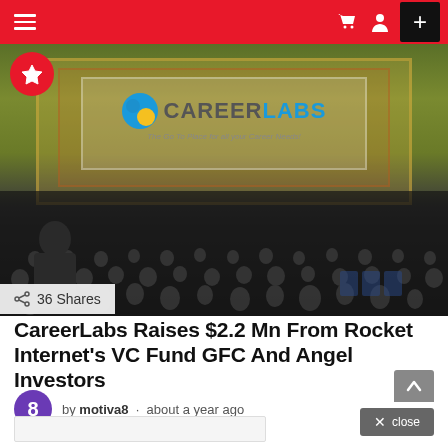Navigation bar with hamburger menu, icons, and plus button
[Figure (photo): CareerLabs event photo showing a large auditorium filled with audience members, with a speaker on stage and a CareerLabs branded screen/backdrop behind. The screen shows the CareerLabs logo and tagline 'The Go To Place for all your Career Needs!']
36 Shares
CareerLabs Raises $2.2 Mn From Rocket Internet's VC Fund GFC And Angel Investors
by motiva8 · about a year ago